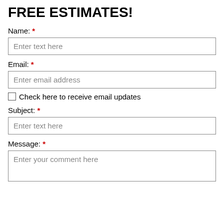FREE ESTIMATES!
Name: *
Enter text here
Email: *
Enter email address
Check here to receive email updates
Subject: *
Enter text here
Message: *
Enter your comment here